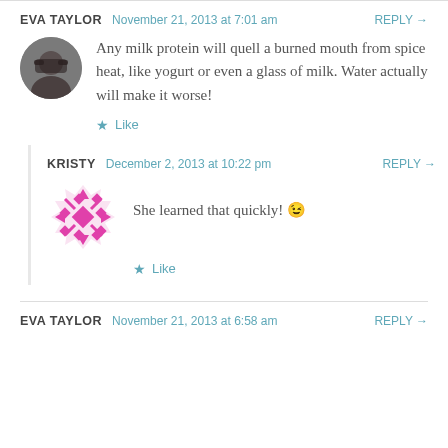EVA TAYLOR  November 21, 2013 at 7:01 am  REPLY →
Any milk protein will quell a burned mouth from spice heat, like yogurt or even a glass of milk. Water actually will make it worse!
★ Like
KRISTY  December 2, 2013 at 10:22 pm  REPLY →
She learned that quickly! 😉
★ Like
EVA TAYLOR  November 21, 2013 at 6:58 am  REPLY →